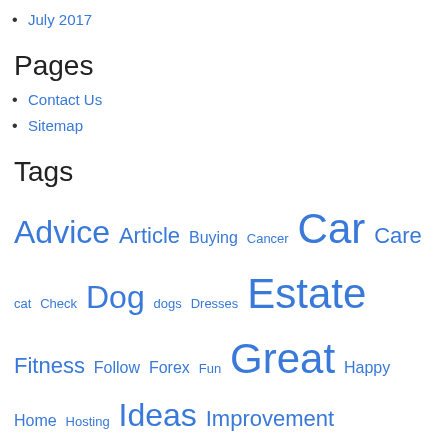July 2017
Pages
Contact Us
Sitemap
Tags
Advice Article Buying Cancer Car Care cat Check Dog dogs Dresses Estate Fitness Follow Forex Fun Great Happy Home Hosting Ideas Improvement Investing Learn Life Making Money Owners peers Purchasing Read reading Real Roofing Save Solid summer Techniques Time Tips Top tricks Vacation Web Wedding